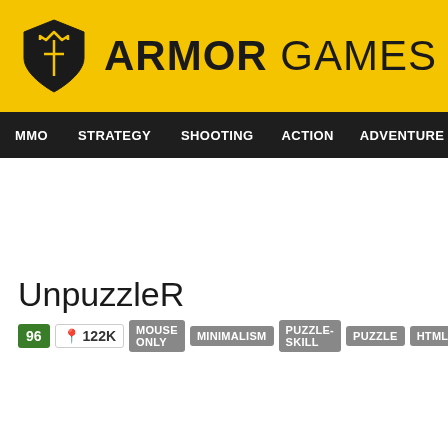[Figure (logo): Armor Games logo with yellow background, shield icon on left and bold ARMOR GAMES text on right]
MMO  STRATEGY  SHOOTING  ACTION  ADVENTURE  P
UnpuzzleR
96  122K  MOUSE ONLY  MINIMALISM  PUZZLE-SKILL  PUZZLE  HTML